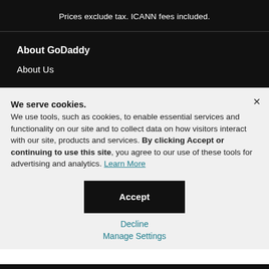Prices exclude tax. ICANN fees included.
About GoDaddy
About Us
We serve cookies. We use tools, such as cookies, to enable essential services and functionality on our site and to collect data on how visitors interact with our site, products and services. By clicking Accept or continuing to use this site, you agree to our use of these tools for advertising and analytics. Learn More
Accept
Decline
Manage Settings